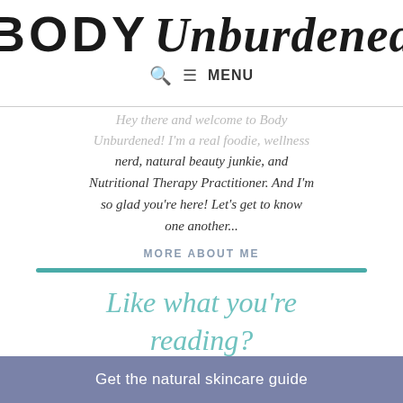BODY Unburdened
🔍 ≡ MENU
Hey there and welcome to Body Unburdened! I'm a real foodie, wellness nerd, natural beauty junkie, and Nutritional Therapy Practitioner. And I'm so glad you're here! Let's get to know one another...
MORE ABOUT ME
Like what you're reading?
Get the natural skincare guide